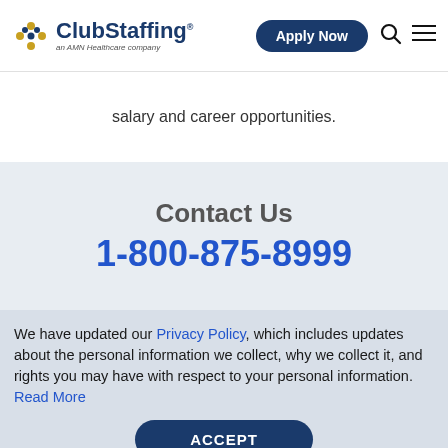ClubStaffing an AMN Healthcare company | Apply Now
salary and career opportunities.
Contact Us
1-800-875-8999
We have updated our Privacy Policy, which includes updates about the personal information we collect, why we collect it, and rights you may have with respect to your personal information. Read More
ACCEPT